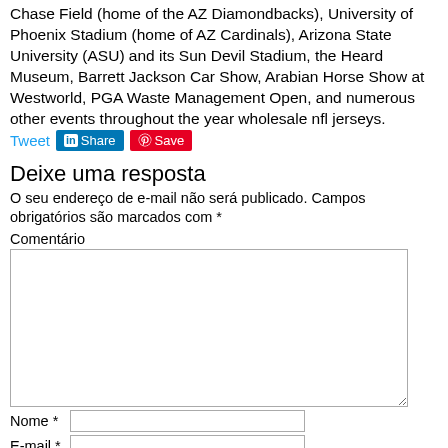Chase Field (home of the AZ Diamondbacks), University of Phoenix Stadium (home of AZ Cardinals), Arizona State University (ASU) and its Sun Devil Stadium, the Heard Museum, Barrett Jackson Car Show, Arabian Horse Show at Westworld, PGA Waste Management Open, and numerous other events throughout the year wholesale nfl jerseys.
[Figure (screenshot): Social sharing buttons: Tweet (Twitter), Share (LinkedIn), Save (Pinterest)]
Deixe uma resposta
O seu endereço de e-mail não será publicado. Campos obrigatórios são marcados com *
Comentário
[Figure (screenshot): Comment text area input box]
Nome *
E-mail *
Site
Salvar meus dados neste navegador para a próxima vez que eu comentar.
[Figure (screenshot): CAPTCHA or verification widget at bottom]